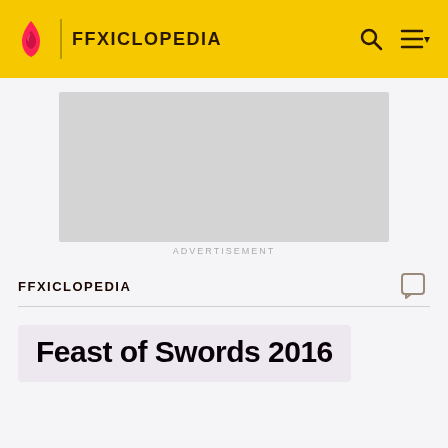FFXICLOPEDIA
[Figure (other): Advertisement placeholder box (light grey rectangle)]
ADVERTISEMENT
FFXICLOPEDIA
Feast of Swords 2016